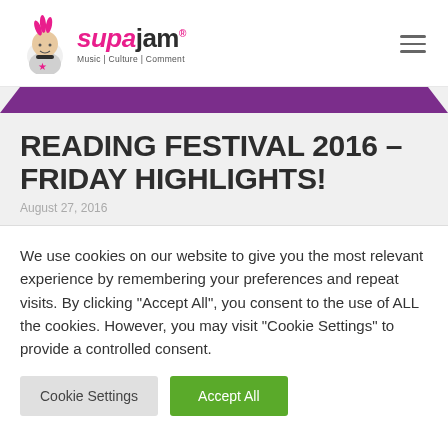[Figure (logo): SupaJam logo with punk character mascot, pink and dark text reading 'supajam', tagline 'Music | Culture | Comment']
READING FESTIVAL 2016 – FRIDAY HIGHLIGHTS!
August 27, 2016
We use cookies on our website to give you the most relevant experience by remembering your preferences and repeat visits. By clicking "Accept All", you consent to the use of ALL the cookies. However, you may visit "Cookie Settings" to provide a controlled consent.